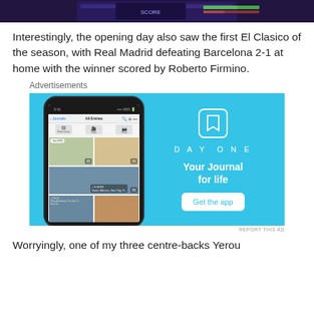[Figure (screenshot): Top portion of a screenshot showing a sports/game interface with purple/dark background and some UI elements]
Interestingly, the opening day also saw the first El Clasico of the season, with Real Madrid defeating Barcelona 2-1 at home with the winner scored by Roberto Firmino.
Advertisements
[Figure (screenshot): DayOne app advertisement banner. Shows a phone mockup with a photo journal app (DayOne) on the left side, and on the right a light blue background with the DayOne logo, tagline 'Your Journal for life', and a 'Get the app' button.]
REPORT THIS AD
Worryingly, one of my three centre-backs Yerou